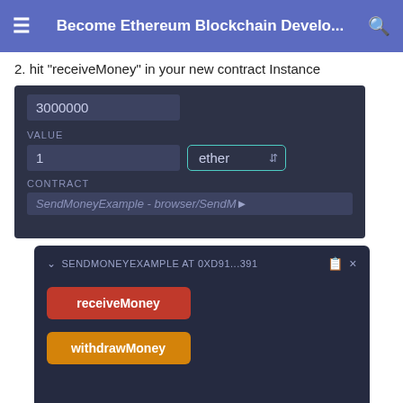Become Ethereum Blockchain Develo...
2. hit "receiveMoney" in your new contract Instance
[Figure (screenshot): Dark-themed Remix IDE interface showing gas limit field with value 3000000, VALUE field with 1 ether selected from dropdown, and CONTRACT field showing SendMoneyExample - browser/SendM...]
[Figure (screenshot): Dark-themed Remix IDE deployed contract panel showing SENDMONEYEXAMPLE AT 0XD91...391 with receiveMoney (red button) and withdrawMoney (orange button)]